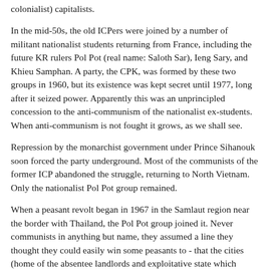colonialist) capitalists.
In the mid-50s, the old ICPers were joined by a number of militant nationalist students returning from France, including the future KR rulers Pol Pot (real name: Saloth Sar), Ieng Sary, and Khieu Samphan. A party, the CPK, was formed by these two groups in 1960, but its existence was kept secret until 1977, long after it seized power. Apparently this was an unprincipled concession to the anti-communism of the nationalist ex-students. When anti-communism is not fought it grows, as we shall see.
Repression by the monarchist government under Prince Sihanouk soon forced the party underground. Most of the communists of the former ICP abandoned the struggle, returning to North Vietnam. Only the nationalist Pol Pot group remained.
When a peasant revolt began in 1967 in the Samlaut region near the border with Thailand, the Pol Pot group joined it. Never communists in anything but name, they assumed a line they thought they could easily win some peasants to - that the cities (home of the absentee landlords and exploitative state which taxed the peasants) and everyone in them were the enemy, including professionals, teachers and workers.
Romantic attachments to the peasantry as a class have long been characteristic of bourgeois radicals. In Russia, Lenin's earliest